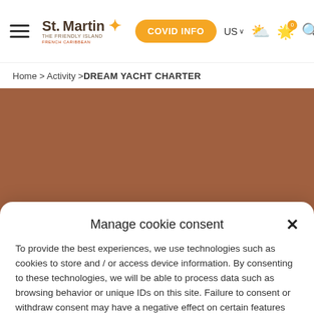St. Martin The Friendly Island French Caribbean — COVID INFO — US — [weather] [alert 0] [search]
Home > Activity > DREAM YACHT CHARTER
[Figure (screenshot): Brown/tan hero image area for Dream Yacht Charter page]
Manage cookie consent
To provide the best experiences, we use technologies such as cookies to store and / or access device information. By consenting to these technologies, we will be able to process data such as browsing behavior or unique IDs on this site. Failure to consent or withdraw consent may have a negative effect on certain features and functions.
Accept